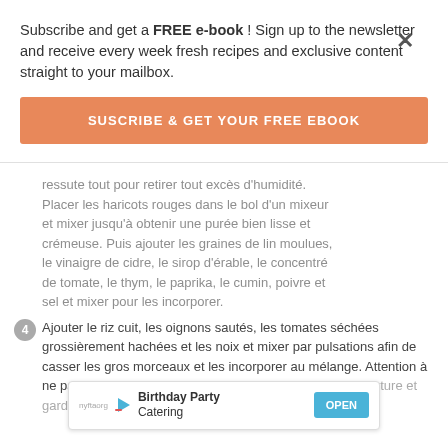Subscribe and get a FREE e-book ! Sign up to the newsletter and receive every week fresh recipes and exclusive content straight to your mailbox.
SUSCRIBE & GET YOUR FREE EBOOK
ressute tout pour retirer tout excès d'humidité. Placer les haricots rouges dans le bol d'un mixeur et mixer jusqu'à obtenir une purée bien lisse et crémeuse. Puis ajouter les graines de lin moulues, le vinaigre de cidre, le sirop d'érable, le concentré de tomate, le thym, le paprika, le cumin, poivre et sel et mixer pour les incorporer.
4. Ajouter le riz cuit, les oignons sautés, les tomates séchées grossièrement hachées et les noix et mixer par pulsations afin de casser les gros morceaux et les incorporer au mélange. Attention à ne pas trop mixer, à ce stade on souhaite amener de la texture et garder des petits morceaux.
nyftaorg Birthday Party Catering OPEN